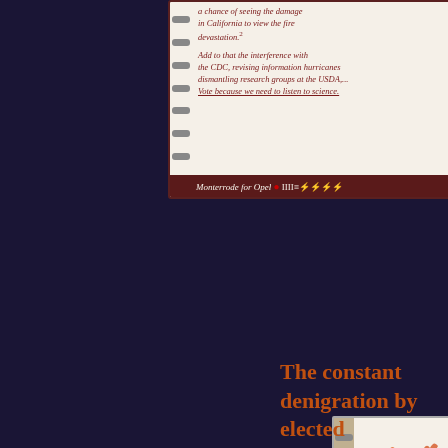[Figure (photo): Handwritten notebook page with red/dark pen text about California fire devastation, CDC interference, and voting for science. Spiral binding on left. Bottom bar reads 'Monterrode for Opel IIII≡⚡⚡⚡⚡' with red spot.]
[Figure (illustration): Spiral-bound sketchbook page with large orange/red hand-drawn 'VOTE' lettering styled as wildfire flames. Date '14 September 2020' in top right corner.]
[Figure (illustration): Colorful painted version of 'VOTE' lettering with orange, white, and brown tones suggesting fire and smoke.]
The constant denigration by elected